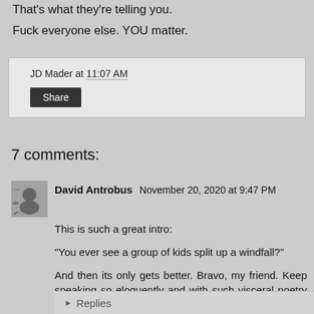That's what they're telling you.

Fuck everyone else. YOU matter.
JD Mader at 11:07 AM
Share
7 comments:
David Antrobus November 20, 2020 at 9:47 PM
This is such a great intro:
"You ever see a group of kids split up a windfall?"
And then its only gets better. Bravo, my friend. Keep speaking so eloquently and with such visceral poetry to the inequities.
Reply
Replies